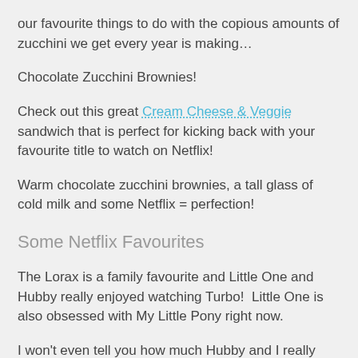our favourite things to do with the copious amounts of zucchini we get every year is making…
Chocolate Zucchini Brownies!
Check out this great Cream Cheese & Veggie sandwich that is perfect for kicking back with your favourite title to watch on Netflix!
Warm chocolate zucchini brownies, a tall glass of cold milk and some Netflix = perfection!
Some Netflix Favourites
The Lorax is a family favourite and Little One and Hubby really enjoyed watching Turbo!  Little One is also obsessed with My Little Pony right now.
I won't even tell you how much Hubby and I really enjoy watching Cheers when Little One is in bed!  Cheers is...